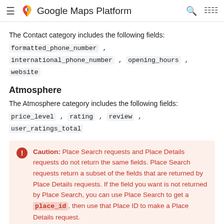Google Maps Platform
The Contact category includes the following fields:
formatted_phone_number , international_phone_number , opening_hours , website
Atmosphere
The Atmosphere category includes the following fields:
price_level , rating , review , user_ratings_total
Caution: Place Search requests and Place Details requests do not return the same fields. Place Search requests return a subset of the fields that are returned by Place Details requests. If the field you want is not returned by Place Search, you can use Place Search to get a place_id, then use that Place ID to make a Place Details request.